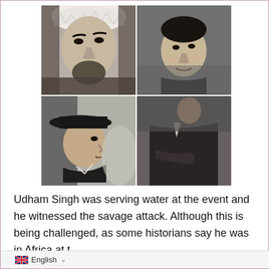[Figure (photo): A collage of three black-and-white photographs arranged in a 2x2 grid (top-left large portrait of a man wearing a turban, top-right portrait of a man in a jacket, bottom-left photo of a man wearing a hat looking sideways, bottom-right continues the top-right photo)]
Udham Singh was serving water at the event and he witnessed the savage attack. Although this is being challenged, as some historians say he was in Africa at t
English